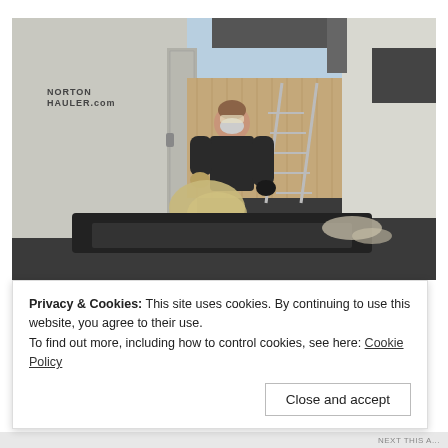[Figure (photo): A person wearing a black t-shirt, gloves, and a respirator mask works outdoors between two white trailers or structures. They are handling a large chunk of insulation material (rockwool/mineral wool). A metal ladder is visible in the background against a wooden fence. The trailer on the left has 'NORTON HAULER .com' text on it.]
Privacy & Cookies: This site uses cookies. By continuing to use this website, you agree to their use.
To find out more, including how to control cookies, see here: Cookie Policy
Close and accept
NEXT THIS A...